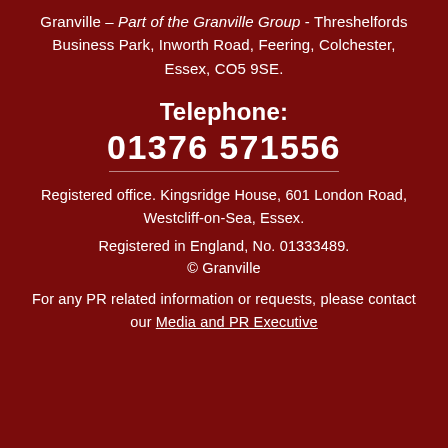Granville – Part of the Granville Group - Threshelfords Business Park, Inworth Road, Feering, Colchester, Essex, CO5 9SE.
Telephone: 01376 571556
Registered office. Kingsridge House, 601 London Road, Westcliff-on-Sea, Essex.
Registered in England, No. 01333489.
© Granville
For any PR related information or requests, please contact our Media and PR Executive